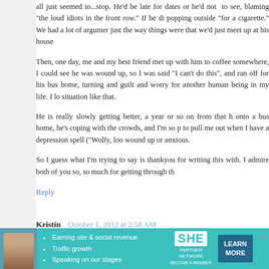all just seemed to...stop. He'd be late for dates or he'd not to see, blaming "the loud idiots in the front row." If he did popping outside "for a cigarette." We had a lot of argumen just the way things were that we'd just meet up at his house
Then, one day, me and my best friend met up with him to coffee somewhere, I could see he was wound up, so I was said "I can't do this", and ran off for his bus home, turning and guilt and worry for another human being in my life. I lo situation like that.
He is really slowly getting better, a year or so on from that h onto a bus home, he's coping with the crowds, and I'm so p to pull me out when I have a depression spell ("Wolfy, loo wound up or anxious.
So I guess what I'm trying to say is thankyou for writing this with. I admire both of you so, so much for getting through th
Reply
Kristin   October 1, 2012 at 2:58 AM
I am so in awe of your courage and openness. I already l harder! As a fellow lover of all things WDW, what hit fair, life! It is possible to take the chicken exit at the
[Figure (infographic): SHE Partner Network advertisement banner with photo of woman, bullet points about earning site & social revenue, traffic growth, speaking on stages, SHE logo, and LEARN MORE button]